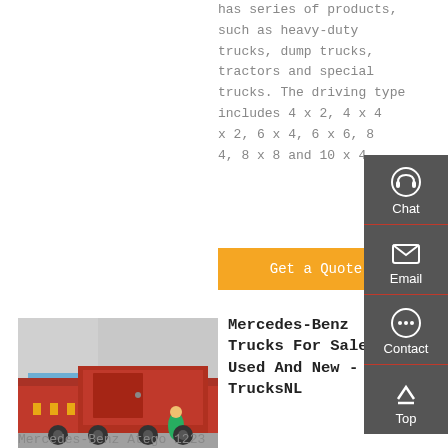has series of products, such as heavy-duty trucks, dump trucks, tractors and special trucks. The driving type includes 4 x 2, 4 x 4, 6 x 2, 6 x 4, 6 x 6, 8 x 4, 8 x 8 and 10 x 4.
Get a Quote
[Figure (photo): Red Mercedes-Benz heavy duty truck photographed from behind at an industrial site]
Mercedes-Benz Trucks For Sale - Used And New - TrucksNL
Mercedes-Benz Atego 1223